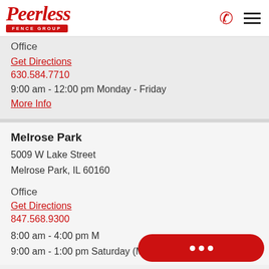Peerless Fence Group
Office
Get Directions
630.584.7710
9:00 am - 12:00 pm Monday - Friday
More Info
Melrose Park
5009 W Lake Street
Melrose Park, IL 60160
Office
Get Directions
847.568.9300
8:00 am - 4:00 pm M
9:00 am - 1:00 pm Saturday (March -